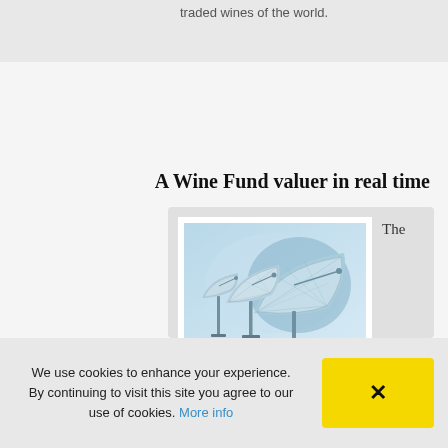traded wines of the world.
nach oben
A Wine Fund valuer in real time
[Figure (photo): Photograph of large satellite dish antennas against a blue sky background]
The strength of Wine-Stocks data is on the one hand that that all prices are updated on daily basis and on the other
We use cookies to enhance your experience. By continuing to visit this site you agree to our use of cookies. More info